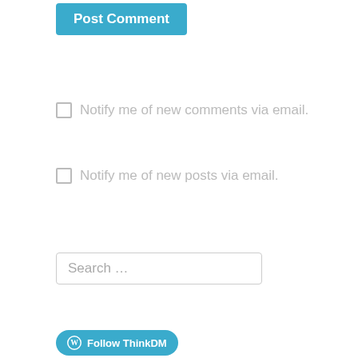Post Comment
Notify me of new comments via email.
Notify me of new posts via email.
Search …
[Figure (other): Follow ThinkDM button with WordPress logo]
ThinkDM Patreon
Support ThinkDM on Patreon for exclusive content, sneak previews, and custom classes.